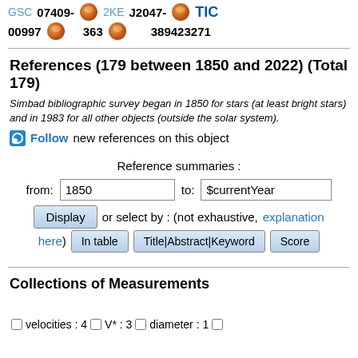GSC 07409- [VizieR] 2KE J2047- [VizieR] TIC 00997 363 389423271
References (179 between 1850 and 2022) (Total 179)
Simbad bibliographic survey began in 1850 for stars (at least bright stars) and in 1983 for all other objects (outside the solar system).
Follow new references on this object
Reference summaries :
from: 1850  to: $currentYear
Display  or select by : (not exhaustive, explanation here)  In table  Title|Abstract|Keyword  Score
Collections of Measurements
velocities : 4   V* : 3   diameter : 1